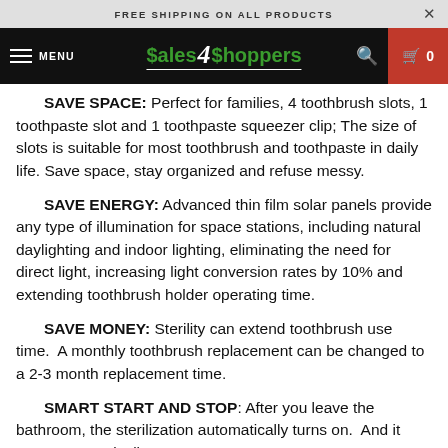FREE SHIPPING ON ALL PRODUCTS
[Figure (logo): Sales4Shoppers logo with hamburger menu, search icon, and cart icon on black navbar]
SAVE SPACE: Perfect for families, 4 toothbrush slots, 1 toothpaste slot and 1 toothpaste squeezer clip; The size of slots is suitable for most toothbrush and toothpaste in daily life. Save space, stay organized and refuse messy.
SAVE ENERGY: Advanced thin film solar panels provide any type of illumination for space stations, including natural daylighting and indoor lighting, eliminating the need for direct light, increasing light conversion rates by 10% and extending toothbrush holder operating time.
SAVE MONEY: Sterility can extend toothbrush use time. A monthly toothbrush replacement can be changed to a 2-3 month replacement time.
SMART START AND STOP: After you leave the bathroom, the sterilization automatically turns on. And it stops automatically